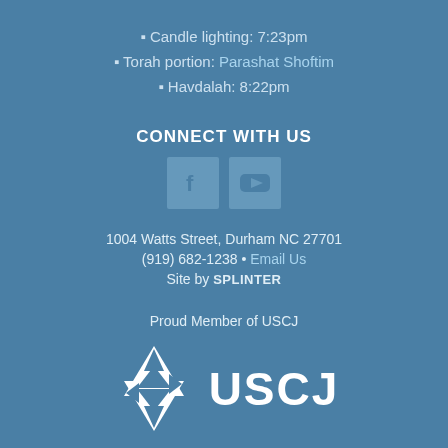• Candle lighting: 7:23pm
• Torah portion: Parashat Shoftim
• Havdalah: 8:22pm
CONNECT WITH US
[Figure (other): Facebook and YouTube social media icon buttons on blue background]
1004 Watts Street, Durham NC 27701
(919) 682-1238 • Email Us
Site by SPLINTER
Proud Member of USCJ
[Figure (logo): USCJ logo with Star of David icon and USCJ text in white]